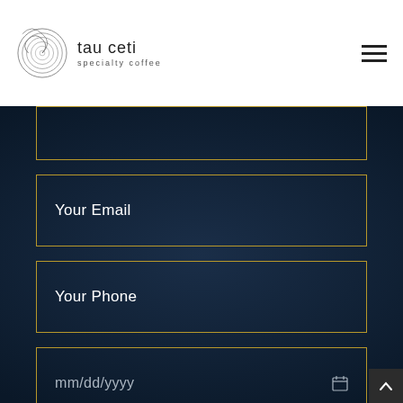[Figure (logo): Tau Ceti specialty coffee logo with spiral circle emblem and text 'tau ceti specialty coffee']
Your Email
Your Phone
mm/dd/yyyy
Time
Seats